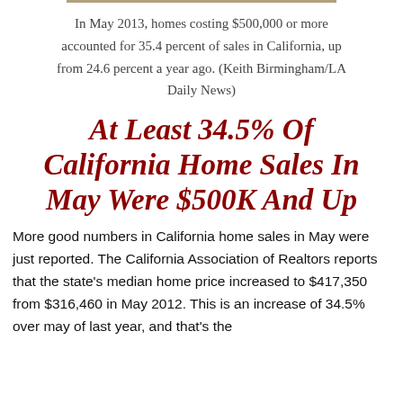In May 2013, homes costing $500,000 or more accounted for 35.4 percent of sales in California, up from 24.6 percent a year ago. (Keith Birmingham/LA Daily News)
At Least 34.5% Of California Home Sales In May Were $500K And Up
More good numbers in California home sales in May were just reported. The California Association of Realtors reports that the state's median home price increased to $417,350 from $316,460 in May 2012. This is an increase of 34.5% over may of last year, and that's the